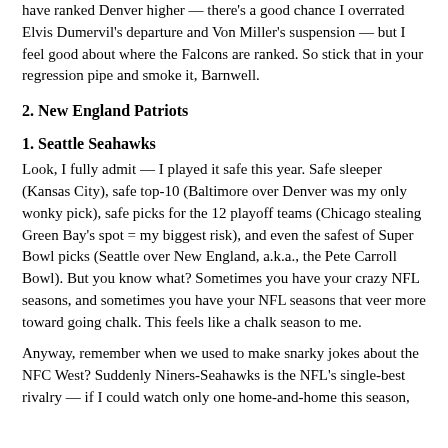have ranked Denver higher — there's a good chance I overrated Elvis Dumervil's departure and Von Miller's suspension — but I feel good about where the Falcons are ranked. So stick that in your regression pipe and smoke it, Barnwell.
2. New England Patriots
1. Seattle Seahawks
Look, I fully admit — I played it safe this year. Safe sleeper (Kansas City), safe top-10 (Baltimore over Denver was my only wonky pick), safe picks for the 12 playoff teams (Chicago stealing Green Bay's spot = my biggest risk), and even the safest of Super Bowl picks (Seattle over New England, a.k.a., the Pete Carroll Bowl). But you know what? Sometimes you have your crazy NFL seasons, and sometimes you have your NFL seasons that veer more toward going chalk. This feels like a chalk season to me.
Anyway, remember when we used to make snarky jokes about the NFC West? Suddenly Niners-Seahawks is the NFL's single-best rivalry — if I could watch only one home-and-home this season,